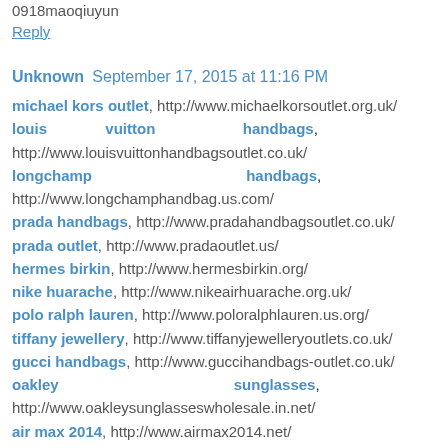rolex watches, http://www.rolexwatches.in.net/ 0918maoqiuyun
Reply
Unknown  September 17, 2015 at 11:16 PM
michael kors outlet, http://www.michaelkorsoutlet.org.uk/ louis vuitton handbags, http://www.louisvuittonhandbagsoutlet.co.uk/ longchamp handbags, http://www.longchamphandbag.us.com/ prada handbags, http://www.pradahandbagsoutlet.co.uk/ prada outlet, http://www.pradaoutlet.us/ hermes birkin, http://www.hermesbirkin.org/ nike huarache, http://www.nikeairhuarache.org.uk/ polo ralph lauren, http://www.poloralphlauren.us.org/ tiffany jewellery, http://www.tiffanyjewelleryoutlets.co.uk/ gucci handbags, http://www.guccihandbags-outlet.co.uk/ oakley sunglasses, http://www.oakleysunglasseswholesale.in.net/ air max 2014, http://www.airmax2014.net/ nfl jerseys wholesale, http://www.nfljerseys-